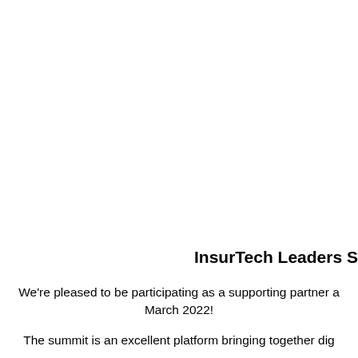InsurTech Leaders S
We’re pleased to be participating as a supporting partner a March 2022!
The summit is an excellent platform bringing together dig